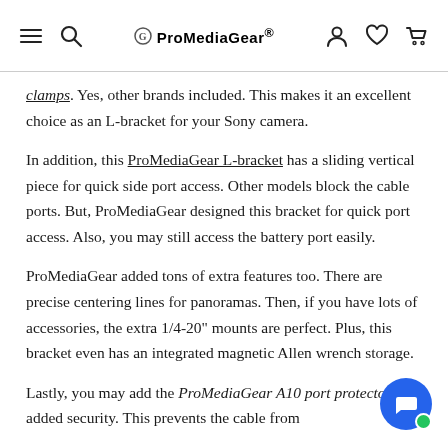ProMediaGear®
clamps. Yes, other brands included. This makes it an excellent choice as an L-bracket for your Sony camera.
In addition, this ProMediaGear L-bracket has a sliding vertical piece for quick side port access. Other models block the cable ports. But, ProMediaGear designed this bracket for quick port access. Also, you may still access the battery port easily.
ProMediaGear added tons of extra features too. There are precise centering lines for panoramas. Then, if you have lots of accessories, the extra 1/4-20" mounts are perfect. Plus, this bracket even has an integrated magnetic Allen wrench storage.
Lastly, you may add the ProMediaGear A10 port protector for added security. This prevents the cable from